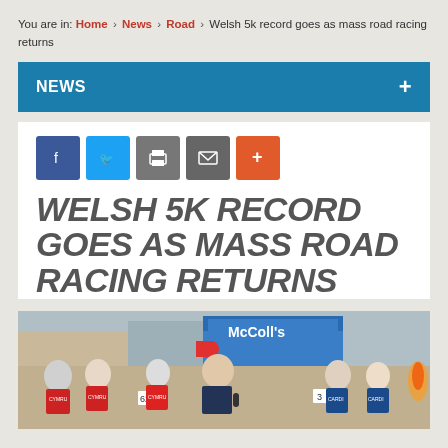You are in: Home > News > Road > Welsh 5k record goes as mass road racing returns
NEWS
WELSH 5K RECORD GOES AS MASS ROAD RACING RETURNS
[Figure (photo): A crowd of runners at the start line of a road race. Runners wearing red/white Cymru vests visible in front. A race official in a dark polo shirt speaks into a handheld device. McColl's shop visible in background. Bib numbers visible including 62 and 3.]